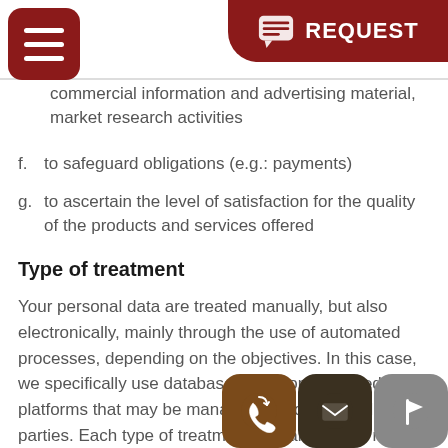REQUEST
commercial information and advertising material, market research activities
f. to safeguard obligations (e.g.: payments)
g. to ascertain the level of satisfaction for the quality of the products and services offered
Type of treatment
Your personal data are treated manually, but also electronically, mainly through the use of automated processes, depending on the objectives. In this case, we specifically use databases and computerised platforms that may be managed by both us and third parties. Each type of treatment guarantees the respect and the confidentiality of the data treated. We store such data and general information in the database and in the servers as